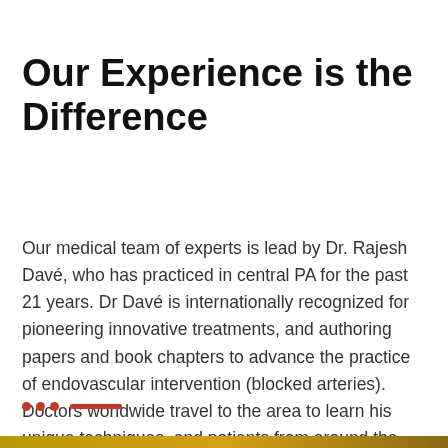Our Experience is the Difference
Our medical team of experts is lead by Dr. Rajesh Davé, who has practiced in central PA for the past 21 years. Dr Davé is internationally recognized for pioneering innovative treatments, and authoring papers and book chapters to advance the practice of endovascular intervention (blocked arteries). Doctors worldwide travel to the area to learn his unique techniques, and patients from around the world have been treated successfully when they were told there were no options.